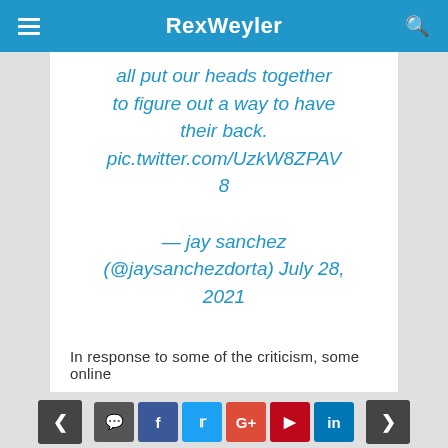RexWeyler
all put our heads together to figure out a way to have their back. pic.twitter.com/UzkW8ZPAV8

— jay sanchez (@jaysanchezdorta) July 28, 2021
In response to some of the criticism, some online
< [comment] [f] [twitter] [g+] [pinterest] [in] >